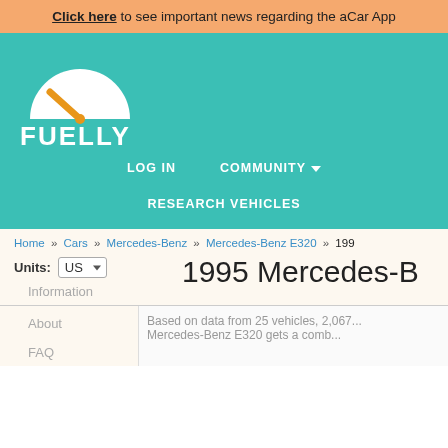Click here to see important news regarding the aCar App
[Figure (logo): Fuelly logo: speedometer icon (white semicircle with orange needle) above white bold text FUELLY on teal background]
LOG IN    COMMUNITY ▾
RESEARCH VEHICLES
Home » Cars » Mercedes-Benz » Mercedes-Benz E320 » 199...
Units: US
1995 Mercedes-B...
Information
About
FAQ
Based on data from 25 vehicles, 2,067... Mercedes-Benz E320 gets a comb...